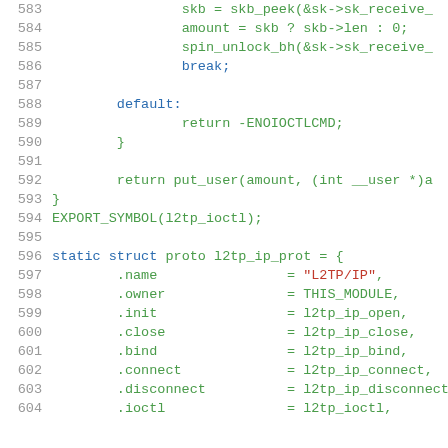[Figure (screenshot): Source code listing showing C code lines 583-604. Code includes a switch/case default branch returning -ENOIOCTLCMD, a closing brace, return put_user call, EXPORT_SYMBOL macro, and a static struct proto l2tp_ip_prot initialization with fields .name, .owner, .init, .close, .bind, .connect, .disconnect, .ioctl.]